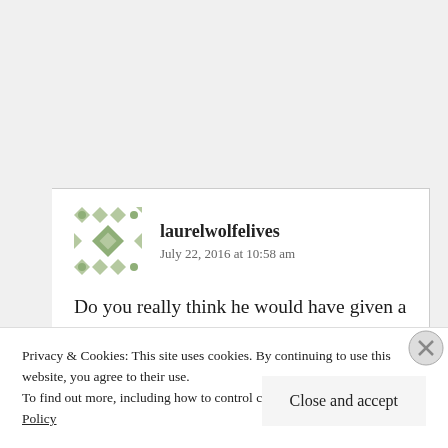[Figure (other): Green decorative geometric/quilt-pattern avatar icon for user laurelwolfelives]
laurelwolfelives
July 22, 2016 at 10:58 am
Do you really think he would have given a shit… or do you think he would have told you to mind your own fucking business? Men like that don't
Privacy & Cookies: This site uses cookies. By continuing to use this website, you agree to their use.
To find out more, including how to control cookies, see here: Cookie Policy
Close and accept